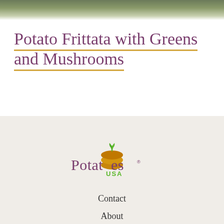[Figure (photo): Partial view of a frittata dish, top crop]
Potato Frittata with Greens and Mushrooms
[Figure (logo): Potatoes USA logo with potato graphic and green leaf]
Contact
About
Potato Recipes